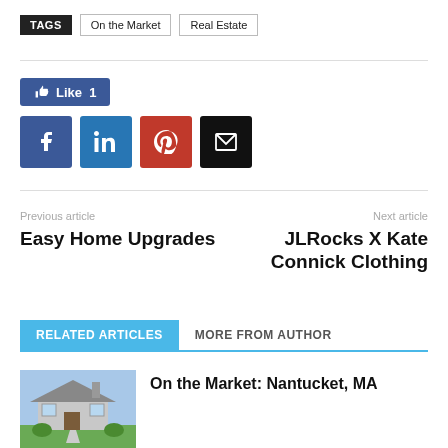TAGS   On the Market   Real Estate
[Figure (other): Facebook Like button showing 'Like 1']
[Figure (other): Social share buttons: Facebook, LinkedIn, Pinterest, Email]
Previous article
Easy Home Upgrades
Next article
JLRocks X Kate Connick Clothing
RELATED ARTICLES   MORE FROM AUTHOR
[Figure (photo): Photo of a house - On the Market: Nantucket, MA article thumbnail]
On the Market: Nantucket, MA